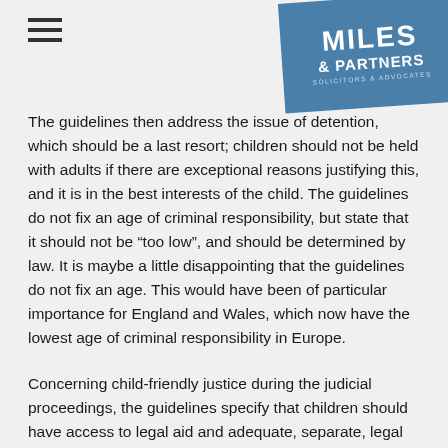[Figure (logo): Miles & Partners Solicitors & Advocates logo in blue box, top-right corner]
The guidelines then address the issue of detention, which should be a last resort; children should not be held with adults if there are exceptional reasons justifying this, and it is in the best interests of the child. The guidelines do not fix an age of criminal responsibility, but state that it should not be “too low”, and should be determined by law. It is maybe a little disappointing that the guidelines do not fix an age. This would have been of particular importance for England and Wales, which now have the lowest age of criminal responsibility in Europe.
Concerning child-friendly justice during the judicial proceedings, the guidelines specify that children should have access to legal aid and adequate, separate, legal representation. Children should be able to familiarise themselves with the layout of the court-room before the hearing.